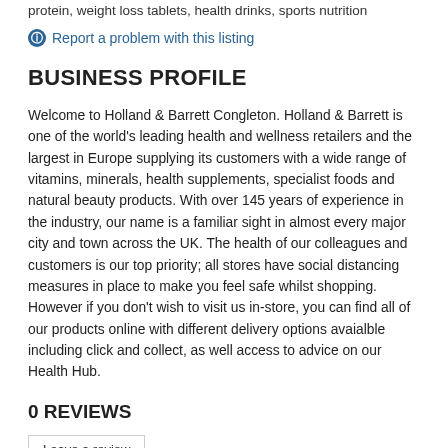protein, weight loss tablets, health drinks, sports nutrition
Report a problem with this listing
BUSINESS PROFILE
Welcome to Holland & Barrett Congleton. Holland & Barrett is one of the world's leading health and wellness retailers and the largest in Europe supplying its customers with a wide range of vitamins, minerals, health supplements, specialist foods and natural beauty products. With over 145 years of experience in the industry, our name is a familiar sight in almost every major city and town across the UK. The health of our colleagues and customers is our top priority; all stores have social distancing measures in place to make you feel safe whilst shopping. However if you don't wish to visit us in-store, you can find all of our products online with different delivery options avaialble including click and collect, as well access to advice on our Health Hub.
0 REVIEWS
Leave a review